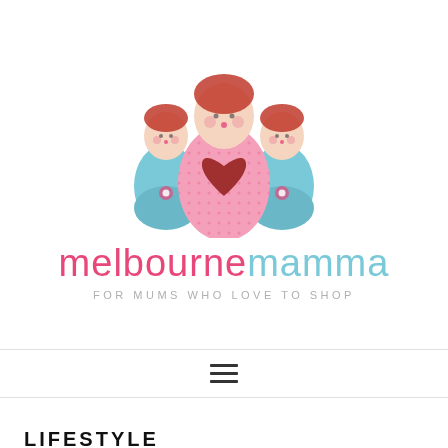[Figure (logo): Melbourne Mamma logo with three matryoshka dolls — a large pink one in the center with a heart, flanked by two smaller blue ones. Below is the brand name 'melbournemamma' in pink and blue, and the tagline 'FOR MUMS WHO LOVE TO SHOP'.]
[Figure (other): Hamburger menu icon (three horizontal lines) centered in a nav bar with top and bottom borders.]
LIFESTYLE